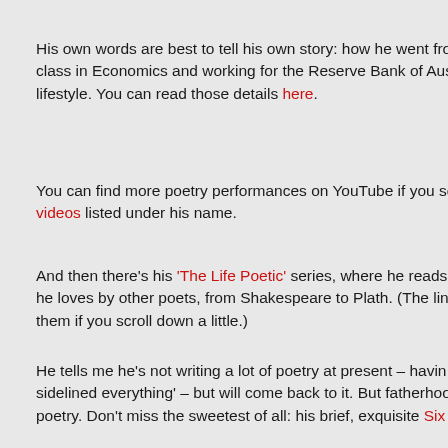His own words are best to tell his own story: how he went fro... class in Economics and working for the Reserve Bank of Aus... lifestyle. You can read those details here.
You can find more poetry performances on YouTube if you so... videos listed under his name.
And then there's his 'The Life Poetic' series, where he reads... he loves by other poets, from Shakespeare to Plath. (The lin... them if you scroll down a little.)
He tells me he's not writing a lot of poetry at present – havin... sidelined everything' – but will come back to it. But fatherhoo... poetry. Don't miss the sweetest of all: his brief, exquisite Six p...
Material shared in 'I Wish I'd Written This' is presented... Poems, photos and other writings remain the property... owners, usually their authors.